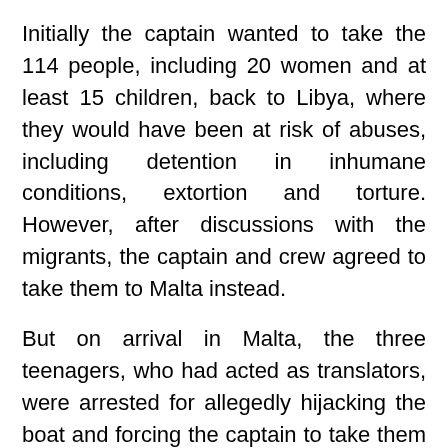Initially the captain wanted to take the 114 people, including 20 women and at least 15 children, back to Libya, where they would have been at risk of abuses, including detention in inhumane conditions, extortion and torture. However, after discussions with the migrants, the captain and crew agreed to take them to Malta instead.
But on arrival in Malta, the three teenagers, who had acted as translators, were arrested for allegedly hijacking the boat and forcing the captain to take them to Malta. They are now accused of very serious offences that could carry life sentences, just for opposing an unlawful return to torture. Amnesty International is demanding justice for the “El Hiblu 3” and calling for the charges against the youths (now aged 21, 18 and 16) to be dropped.
Among the other cases are:
Cases in Belgium, Rwanda, and other rights defenders...